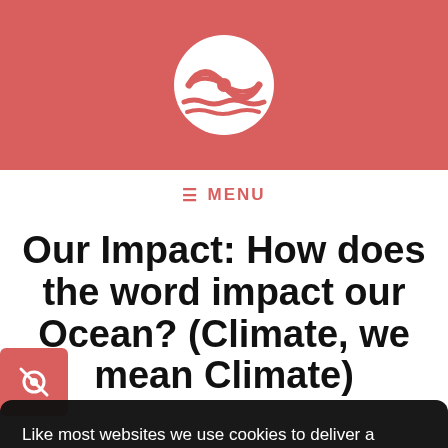[Figure (logo): Circular logo with wave/eye motif in white on salmon/red background]
≡ MENU
Our Impact: How does the word impact our Ocean? (Climate, we mean Climate)
Like most websites we use cookies to deliver a personalised service. To use the website as intended please accept cookies.
Accept Cookies